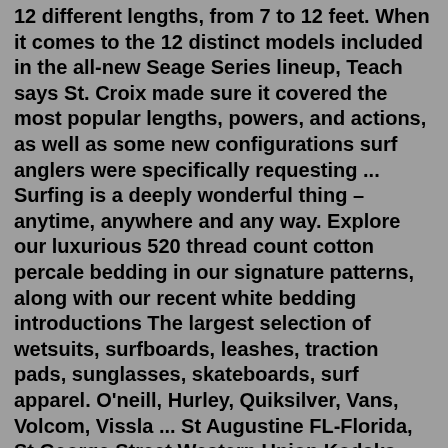12 different lengths, from 7 to 12 feet. When it comes to the 12 distinct models included in the all-new Seage Series lineup, Teach says St. Croix made sure it covered the most popular lengths, powers, and actions, as well as some new configurations surf anglers were specifically requesting ... Surfing is a deeply wonderful thing – anytime, anywhere and any way. Explore our luxurious 520 thread count cotton percale bedding in our signature patterns, along with our recent white bedding introductions The largest selection of wetsuits, surfboards, leashes, traction pads, sunglasses, skateboards, surf apparel. O'neill, Hurley, Quiksilver, Vans, Volcom, Vissla ... St Augustine FL-Florida, St George Street Western Union Kodaks Vintage Postcard. Pre-owned. $11.99. + $2.00 shipping. Seller 100% positive. Surfboards. STOCK LIST Rentals GIFT CARDS Sale Mens Sale. Womens Sale. Locations Cart (0 ... HSS - Main St. 300 Pacific Coast HWY HB, CA 92648 (714)841-4000 Use the form on the right to contact us. 7th Street Surf